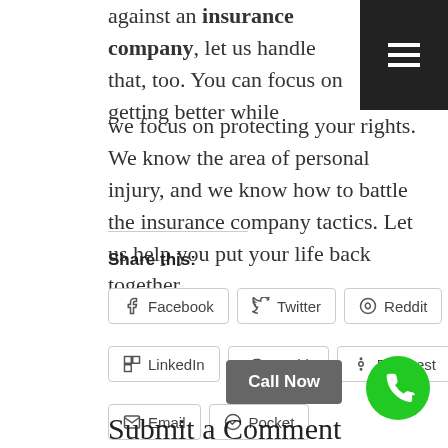against an insurance company, let us handle that, too. You can focus on getting better while we focus on protecting your rights. We know the area of personal injury, and we know how to battle the insurance company tactics. Let us help you put your life back together.
Share this:
Facebook
Twitter
Reddit
Skype
LinkedIn
Tumblr
Pinterest
Print
Email
Pocket
Call Now
Submit a Comment